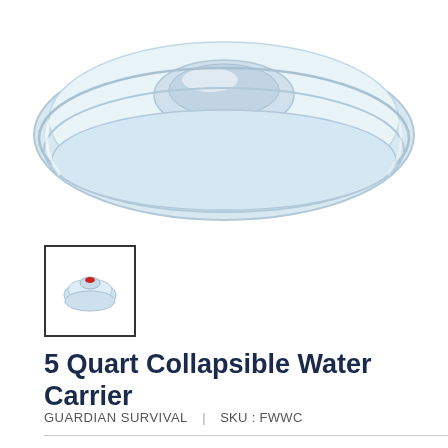[Figure (photo): Top portion of a clear collapsible water carrier/jug viewed from above, showing the cap and accordion-style folded body against a white background]
[Figure (photo): Thumbnail image of the 5 Quart Collapsible Water Carrier showing the full collapsed product with red cap]
5 Quart Collapsible Water Carrier
GUARDIAN SURVIVAL  |  SKU : FWWC
Price:  $9.95
Quantity: 1